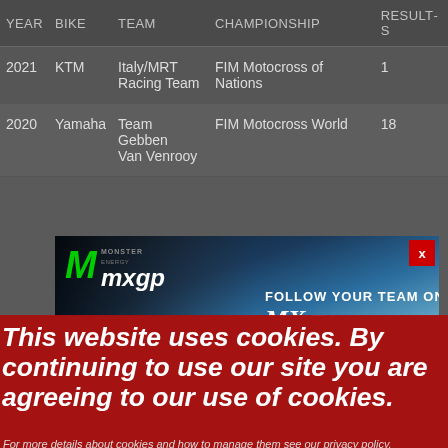| YEAR | BIKE | TEAM | CHAMPIONSHIP | RESULTS |
| --- | --- | --- | --- | --- |
| 2021 | KTM | Italy/MRT Racing Team | FIM Motocross of Nations | 1 |
| 2020 | Yamaha | Team Gebben Van Venrooy | FIM Motocross World | 18 |
[Figure (photo): Monster Energy MXGP advertisement banner with blue smoky background and text 'FOLLOW YOUR TEAM ON MX TVcom']
This website uses cookies. By continuing to use our site you are agreeing to our use of cookies.
For more details about cookies and how to manage them see our privacy policy.
Give me more information
OK, I agree